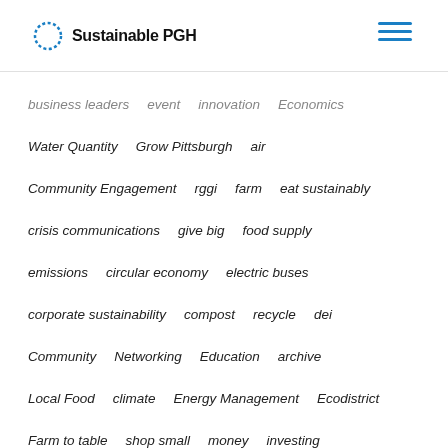Sustainable PGH
business leaders   event   innovation   Economics
Water Quantity   Grow Pittsburgh   air
Community Engagement   rggi   farm   eat sustainably
crisis communications   give big   food supply
emissions   circular economy   electric buses
corporate sustainability   compost   recycle   dei
Community   Networking   Education   archive
Local Food   climate   Energy Management   Ecodistrict
Farm to table   shop small   money   investing